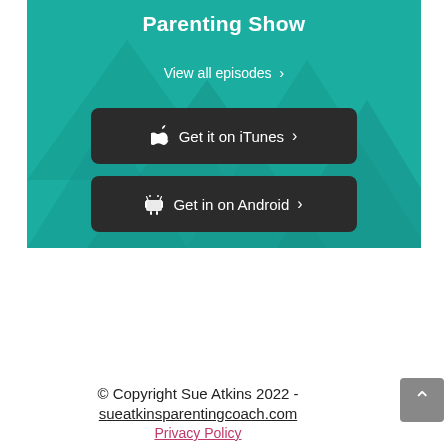[Figure (screenshot): Teal/green banner with geometric diamond shapes in background, showing 'Parenting Show' title, 'View all episodes >' link, 'Get it on iTunes >' button, and 'Get in on Android >' button]
Parenting Show
View all episodes >
Get it on iTunes >
Get in on Android >
© Copyright Sue Atkins 2022 - sueatkinsparentingcoach.com
Privacy Policy